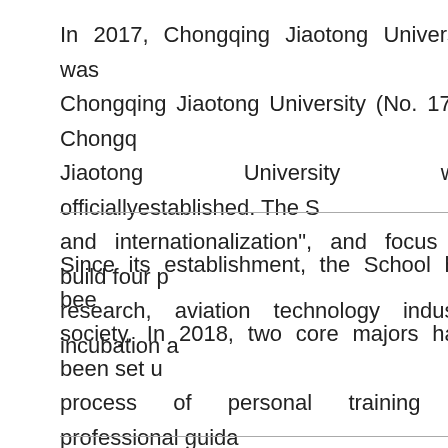In 2017, Chongqing Jiaotong University was Chongqing Jiaotong University (No. 17 of Chongq Jiaotong University was officiallyestablished. The S and internationalization", and focus on build four p research, aviation technology industry incubation a
Since its establishment, the School has bee society. In 2018, two core majors have been set u process of personal training by professional guida Chongqing", which provides a solid foundation for the School.